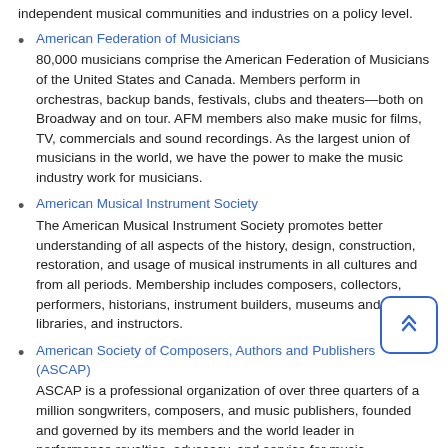independent musical communities and industries on a policy level.
American Federation of Musicians
80,000 musicians comprise the American Federation of Musicians of the United States and Canada. Members perform in orchestras, backup bands, festivals, clubs and theaters—both on Broadway and on tour. AFM members also make music for films, TV, commercials and sound recordings. As the largest union of musicians in the world, we have the power to make the music industry work for musicians.
American Musical Instrument Society
The American Musical Instrument Society promotes better understanding of all aspects of the history, design, construction, restoration, and usage of musical instruments in all cultures and from all periods. Membership includes composers, collectors, performers, historians, instrument builders, museums and libraries, and instructors.
American Society of Composers, Authors and Publishers (ASCAP)
ASCAP is a professional organization of over three quarters of a million songwriters, composers, and music publishers, founded and governed by its members and the world leader in performance royalties, advocacy, and service for music professionals.
Association of Independent Music Publishers
The Association of Independent Music Publishers was formed in 1977